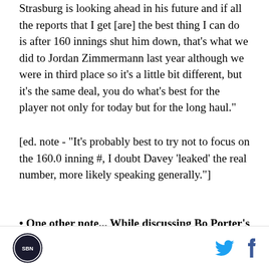Strasburg is looking ahead in his future and if all the reports that I get [are] the best thing I can do is after 160 innings shut him down, that's what we did to Jordan Zimmermann last year although we were in third place so it's a little bit different, but it's the same deal, you do what's best for the player not only for today but for the long haul."
[ed. note - "It's probably best to try not to focus on the 160.0 inning #, I doubt Davey 'leaked' the real number, more likely speaking generally."]
• One other note... While discussing Bo Porter's decision to send pitcher Edwin Jackson home from second on a Bryce Harper single in last night's game,